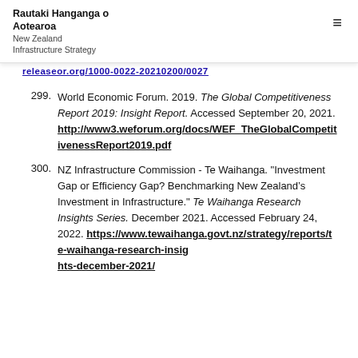Rautaki Hanganga o Aotearoa
New Zealand
Infrastructure Strategy
[previous URL link - partially visible]
299. World Economic Forum. 2019. The Global Competitiveness Report 2019: Insight Report. Accessed September 20, 2021. http://www3.weforum.org/docs/WEF_TheGlobalCompetitivenessReport2019.pdf
300. NZ Infrastructure Commission - Te Waihanga. "Investment Gap or Efficiency Gap? Benchmarking New Zealand’s Investment in Infrastructure." Te Waihanga Research Insights Series. December 2021. Accessed February 24, 2022. https://www.tewaihanga.govt.nz/strategy/reports/te-waihanga-research-insights-december-2021/